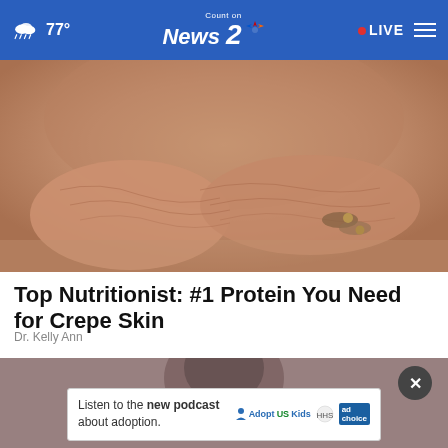77° Count on News 2 NBC · LIVE
[Figure (photo): Close-up photo of elderly person's wrinkled arms/skin with bracelets on wrist, resting on a surface]
Top Nutritionist: #1 Protein You Need for Crepe Skin
Dr. Kelly Ann
[Figure (photo): Partial photo of a person's face, partially obscured by an advertisement overlay]
Listen to the new podcast about adoption.